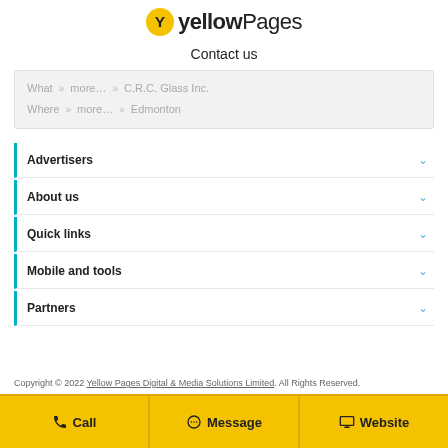[Figure (logo): Yellow Pages logo with yellow circle containing X icon and bold 'yellow' text followed by 'Pages' text]
Contact us
What » more… » C.R.C. Glass Inc.
Where » more… » Edmonton
Advertisers
About us
Quick links
Mobile and tools
Partners
Copyright © 2022 Yellow Pages Digital & Media Solutions Limited. All Rights Reserved.
Call | Message | Website